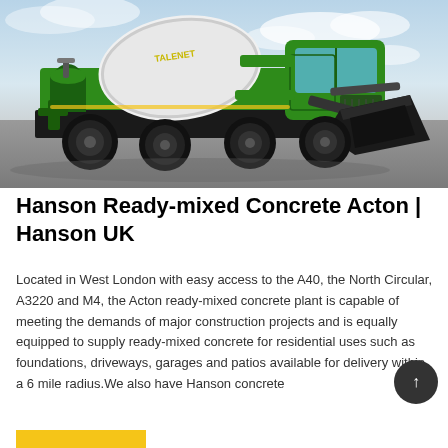[Figure (photo): A large green Talenet self-loading concrete mixer truck on a grey surface with a cloudy sky backdrop. The mixer drum is white with green frame, and there is a large black loading bucket at the front.]
Hanson Ready-mixed Concrete Acton | Hanson UK
Located in West London with easy access to the A40, the North Circular, A3220 and M4, the Acton ready-mixed concrete plant is capable of meeting the demands of major construction projects and is equally equipped to supply ready-mixed concrete for residential uses such as foundations, driveways, garages and patios available for delivery within a 6 mile radius.We also have Hanson concrete